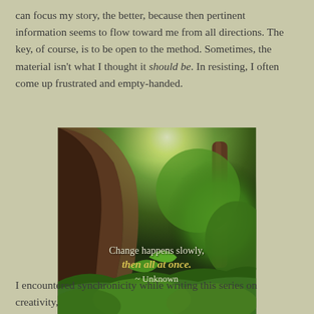can focus my story, the better, because then pertinent information seems to flow toward me from all directions. The key, of course, is to be open to the method. Sometimes, the material isn't what I thought it should be. In resisting, I often come up frustrated and empty-handed.
[Figure (photo): A forest scene with large tree trunk on the left, lush green foliage, and bright light breaking through the canopy. Overlaid with a quote: 'Change happens slowly, then all at once. ~ Unknown']
I encountered synchronicity while writing this series on creativity,